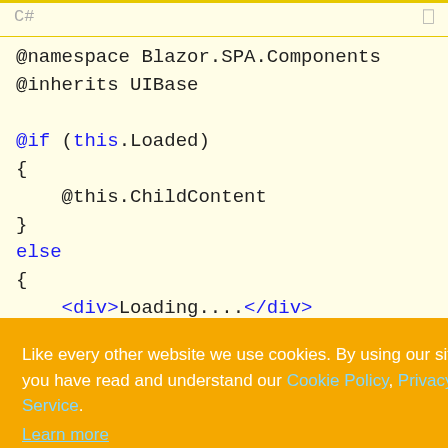[Figure (screenshot): Screenshot of a C# code editor showing Blazor component code with a cookie consent overlay popup in orange/amber color covering the lower portion of the screen.]